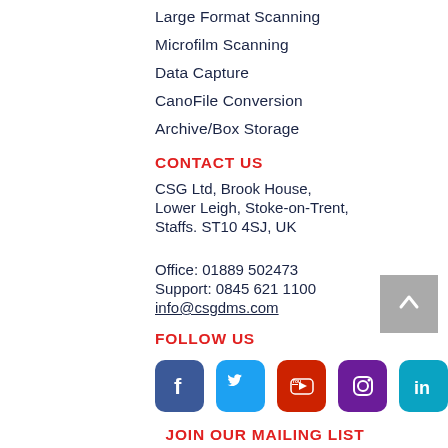Large Format Scanning
Microfilm Scanning
Data Capture
CanoFile Conversion
Archive/Box Storage
CONTACT US
CSG Ltd, Brook House,
Lower Leigh, Stoke-on-Trent,
Staffs. ST10 4SJ, UK
Office: 01889 502473
Support: 0845 621 1100
info@csgdms.com
FOLLOW US
[Figure (infographic): Row of five social media icons: Facebook (dark blue), Twitter (light blue), YouTube (red), Instagram (purple), LinkedIn (cyan/blue)]
JOIN OUR MAILING LIST